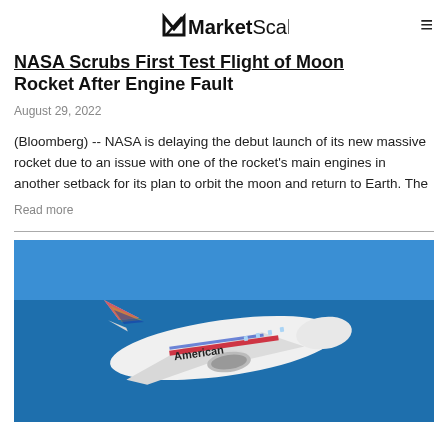MarketScale
NASA Scrubs First Test Flight of Moon Rocket After Engine Fault
August 29, 2022
(Bloomberg) -- NASA is delaying the debut launch of its new massive rocket due to an issue with one of the rocket's main engines in another setback for its plan to orbit the moon and return to Earth. The
Read more
[Figure (photo): American Airlines aircraft in flight against a blue sky background]